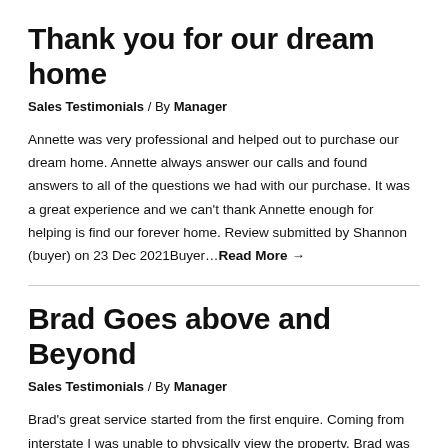Thank you for our dream home
Sales Testimonials / By Manager
Annette was very professional and helped out to purchase our dream home. Annette always answer our calls and found answers to all of the questions we had with our purchase. It was a great experience and we can't thank Annette enough for helping is find our forever home. Review submitted by Shannon (buyer) on 23 Dec 2021Buyer…Read More →
Brad Goes above and Beyond
Sales Testimonials / By Manager
Brad's great service started from the first enquire. Coming from interstate I was unable to physically view the property. Brad was